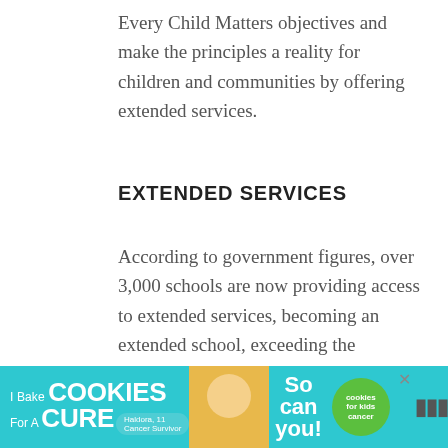Every Child Matters objectives and make the principles a reality for children and communities by offering extended services.
EXTENDED SERVICES
According to government figures, over 3,000 schools are now providing access to extended services, becoming an extended school, exceeding the Government's target. Clearly, the willingness to support children is there.
[Figure (infographic): Advertisement banner for 'I Bake Cookies For A Cure' featuring a photo of a child named Haldora, age 11, Cancer Survivor, with text 'So can you!' and a green Cookies for Kids Cancer circle logo, a close button, and the Weedmaps wordmark partially visible.]